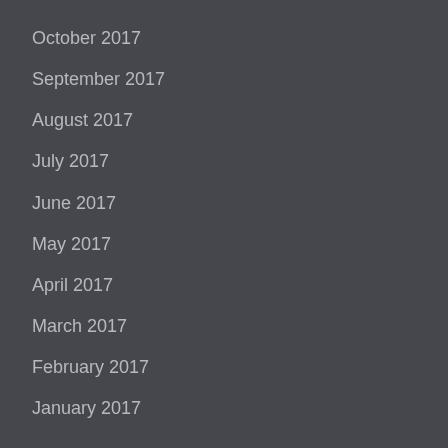October 2017
September 2017
August 2017
July 2017
June 2017
May 2017
April 2017
March 2017
February 2017
January 2017